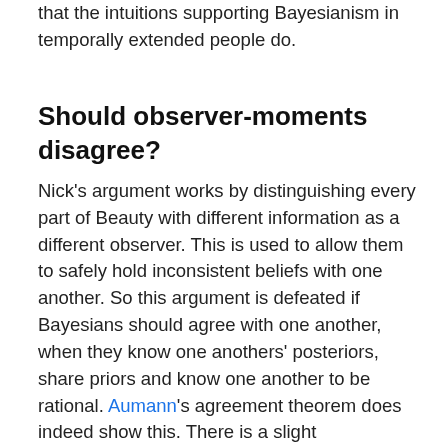that the intuitions supporting Bayesianism in temporally extended people do.
Should observer-moments disagree?
Nick's argument works by distinguishing every part of Beauty with different information as a different observer. This is used to allow them to safely hold inconsistent beliefs with one another. So this argument is defeated if Bayesians should agree with one another, when they know one anothers' posteriors, share priors and know one another to be rational. Aumann's agreement theorem does indeed show this. There is a slight complication in that the disagreement is over probabilities conditional on different locations, but the locations are related in a known way, so it appears they can be converted to disagreement over the same question. For instance past Beauty has a belief